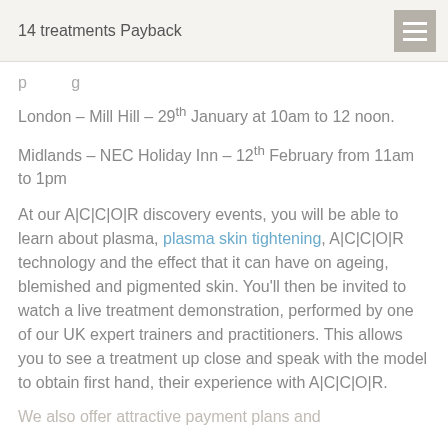14 treatments Payback
London – Mill Hill – 29th January at 10am to 12 noon.
Midlands – NEC Holiday Inn – 12th February from 11am to 1pm
At our A|C|C|O|R discovery events, you will be able to learn about plasma, plasma skin tightening, A|C|C|O|R technology and the effect that it can have on ageing, blemished and pigmented skin. You'll then be invited to watch a live treatment demonstration, performed by one of our UK expert trainers and practitioners. This allows you to see a treatment up close and speak with the model to obtain first hand, their experience with A|C|C|O|R.
We also offer attractive payment plans and